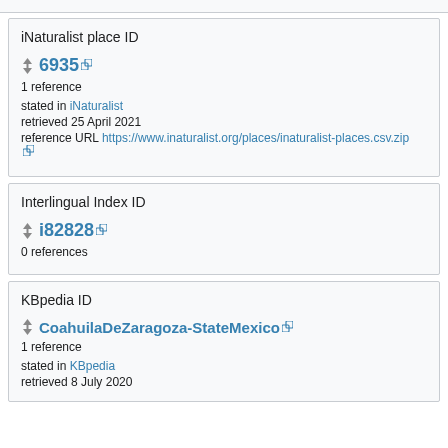iNaturalist place ID
6935
1 reference
stated in iNaturalist
retrieved 25 April 2021
reference URL https://www.inaturalist.org/places/inaturalist-places.csv.zip
Interlingual Index ID
i82828
0 references
KBpedia ID
CoahuilaDeZaragoza-StateMexico
1 reference
stated in KBpedia
retrieved 8 July 2020